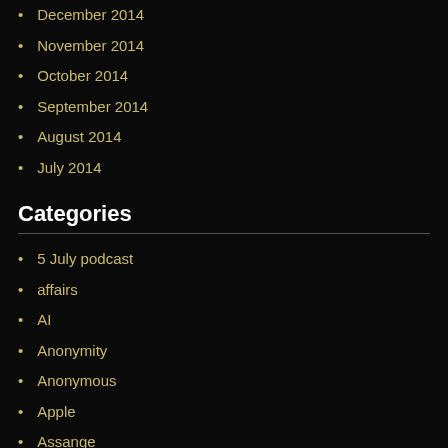December 2014
November 2014
October 2014
September 2014
August 2014
July 2014
Categories
5 July podcast
affairs
AI
Anonymity
Anonymous
Apple
Assange
AVMSD
Barret Brown
Big Brother
Big Business
Big Data